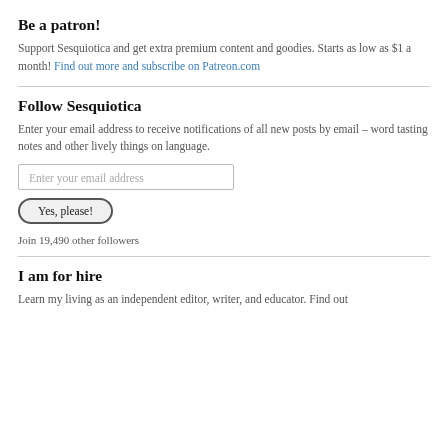Be a patron!
Support Sesquiotica and get extra premium content and goodies. Starts as low as $1 a month! Find out more and subscribe on Patreon.com
Follow Sesquiotica
Enter your email address to receive notifications of all new posts by email – word tasting notes and other lively things on language.
Enter your email address
Yes, please!
Join 19,490 other followers
I am for hire
Learn my living as an independent editor, writer, and educator. Find out